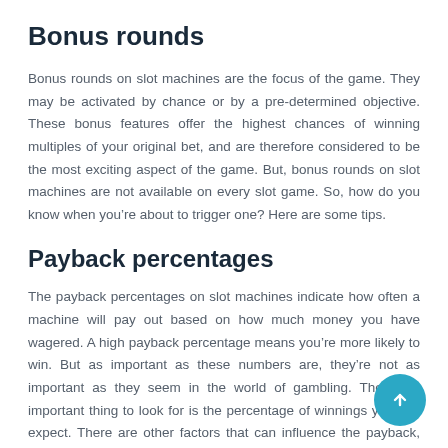Bonus rounds
Bonus rounds on slot machines are the focus of the game. They may be activated by chance or by a pre-determined objective. These bonus features offer the highest chances of winning multiples of your original bet, and are therefore considered to be the most exciting aspect of the game. But, bonus rounds on slot machines are not available on every slot game. So, how do you know when you’re about to trigger one? Here are some tips.
Payback percentages
The payback percentages on slot machines indicate how often a machine will pay out based on how much money you have wagered. A high payback percentage means you’re more likely to win. But as important as these numbers are, they’re not as important as they seem in the world of gambling. The most important thing to look for is the percentage of winnings you can expect. There are other factors that can influence the payback, such as the size of your wager and the number of lines activated.